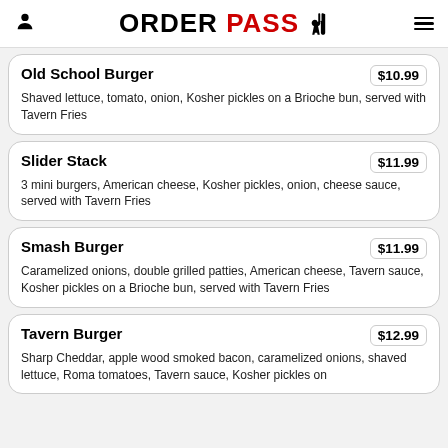ORDER PASS
Old School Burger — $10.99
Shaved lettuce, tomato, onion, Kosher pickles on a Brioche bun, served with Tavern Fries
Slider Stack — $11.99
3 mini burgers, American cheese, Kosher pickles, onion, cheese sauce, served with Tavern Fries
Smash Burger — $11.99
Caramelized onions, double grilled patties, American cheese, Tavern sauce, Kosher pickles on a Brioche bun, served with Tavern Fries
Tavern Burger — $12.99
Sharp Cheddar, apple wood smoked bacon, caramelized onions, shaved lettuce, Roma tomatoes, Tavern sauce, Kosher pickles on